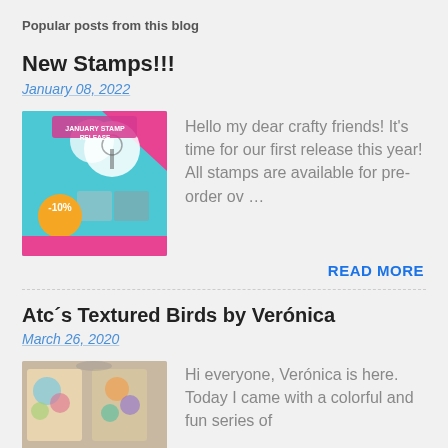Popular posts from this blog
New Stamps!!!
January 08, 2022
[Figure (photo): January Stamp Release promotional image with stamp designs and -10% discount badge]
Hello my dear crafty friends!  It's time for our first release this year! All stamps are available for pre-order ov …
READ MORE
Atc´s Textured Birds by Verónica
March 26, 2020
[Figure (photo): Colorful ATC cards with textured birds artwork]
Hi everyone, Verónica is here. Today I came with a colorful and fun series of